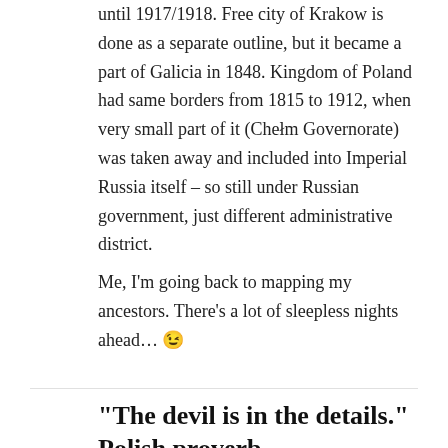until 1917/1918. Free city of Krakow is done as a separate outline, but it became a part of Galicia in 1848. Kingdom of Poland had same borders from 1815 to 1912, when very small part of it (Chełm Governorate) was taken away and included into Imperial Russia itself – so still under Russian government, just different administrative district.
Me, I'm going back to mapping my ancestors. There's a lot of sleepless nights ahead… 😉
"The devil is in the details." Polish proverb
APRIL 24, 2020 · 2 COMMENTS